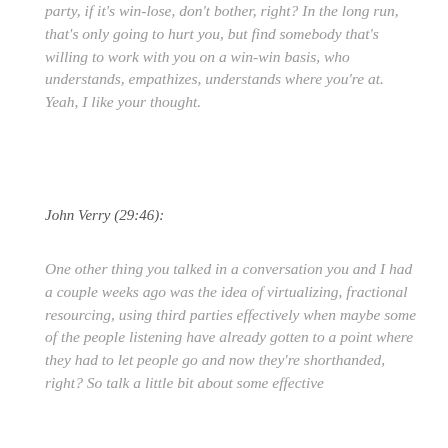party, if it's win-lose, don't bother, right? In the long run, that's only going to hurt you, but find somebody that's willing to work with you on a win-win basis, who understands, empathizes, understands where you're at. Yeah, I like your thought.
John Verry (29:46):
One other thing you talked in a conversation you and I had a couple weeks ago was the idea of virtualizing, fractional resourcing, using third parties effectively when maybe some of the people listening have already gotten to a point where they had to let people go and now they're shorthanded, right? So talk a little bit about some effective